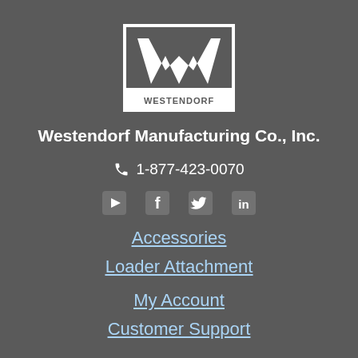[Figure (logo): Westendorf logo: white W symbol inside a white rectangular border with WESTENDORF text below the W on a gray background]
Westendorf Manufacturing Co., Inc.
1-877-423-0070
[Figure (other): Social media icons: YouTube, Facebook, Twitter, LinkedIn]
Accessories
Loader Attachment
My Account
Customer Support